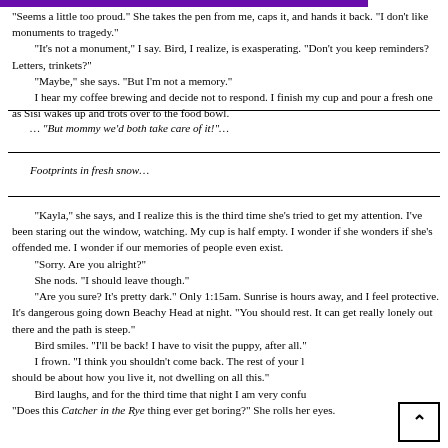“Seems a little too proud.” She takes the pen from me, caps it, and hands it back. “I don’t like monuments to tragedy.”
“It’s not a monument,” I say. Bird, I realize, is exasperating. “Don’t you keep reminders? Letters, trinkets?”
“Maybe,” she says. “But I’m not a memory.”
I hear my coffee brewing and decide not to respond. I finish my cup and pour a fresh one as Sisi wakes up and trots over to the food bowl.
… “But mommy we’d both take care of it!”…
Footprints in fresh snow…
“Kayla,” she says, and I realize this is the third time she’s tried to get my attention. I’ve been staring out the window, watching. My cup is half empty. I wonder if she wonders if she’s offended me. I wonder if our memories of people even exist.
“Sorry. Are you alright?”
She nods. “I should leave though.”
“Are you sure? It’s pretty dark.” Only 1:15am. Sunrise is hours away, and I feel protective. It’s dangerous going down Beachy Head at night. “You should rest. It can get really lonely out there and the path is steep.”
Bird smiles. “I’ll be back! I have to visit the puppy, after all.”
I frown. “I think you shouldn’t come back. The rest of your life should be about how you live it, not dwelling on all this.”
Bird laughs, and for the third time that night I am very confused.
“Does this Catcher in the Rye thing ever get boring?” She rolls her eyes.